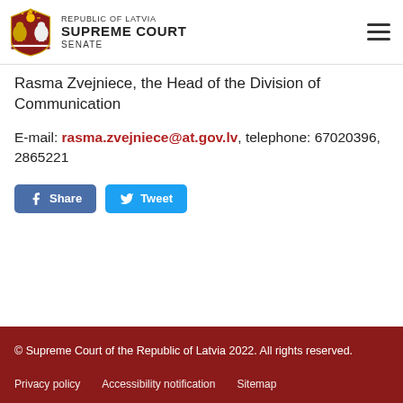[Figure (logo): Republic of Latvia Supreme Court Senate logo with coat of arms]
Rasma Zvejniece, the Head of the Division of Communication
E-mail: rasma.zvejniece@at.gov.lv, telephone: 67020396, 2865221
[Figure (other): Facebook Share and Twitter Tweet social sharing buttons]
© Supreme Court of the Republic of Latvia 2022. All rights reserved. Privacy policy  Accessibility notification  Sitemap